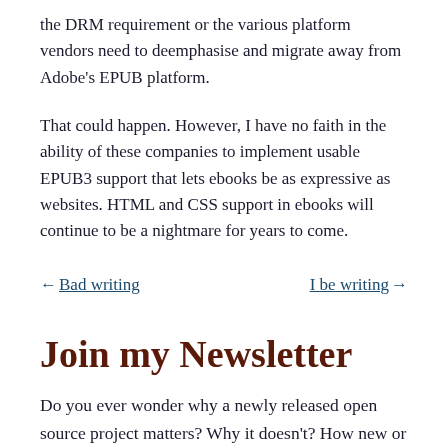the DRM requirement or the various platform vendors need to deemphasise and migrate away from Adobe's EPUB platform.
That could happen. However, I have no faith in the ability of these companies to implement usable EPUB3 support that lets ebooks be as expressive as websites. HTML and CSS support in ebooks will continue to be a nightmare for years to come.
← Bad writing   I be writing →
Join my Newsletter
Do you ever wonder why a newly released open source project matters? Why it doesn't? How new or old standards or specifications affect your work? Why the web, tech, and publishing are the way they are?